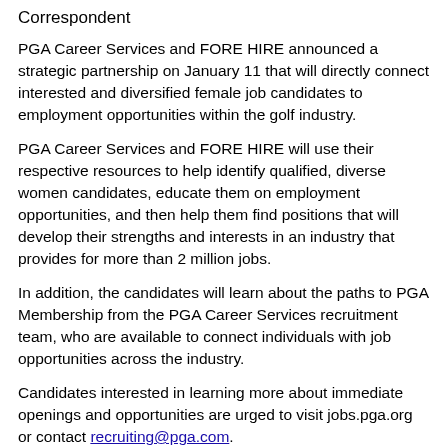Correspondent
PGA Career Services and FORE HIRE announced a strategic partnership on January 11 that will directly connect interested and diversified female job candidates to employment opportunities within the golf industry.
PGA Career Services and FORE HIRE will use their respective resources to help identify qualified, diverse women candidates, educate them on employment opportunities, and then help them find positions that will develop their strengths and interests in an industry that provides for more than 2 million jobs.
In addition, the candidates will learn about the paths to PGA Membership from the PGA Career Services recruitment team, who are available to connect individuals with job opportunities across the industry.
Candidates interested in learning more about immediate openings and opportunities are urged to visit jobs.pga.org or contact recruiting@pga.com.
FORE HIRE, led by President and Founder Courtney Swaim Trimble, is an organization that advocates providing archiving both the